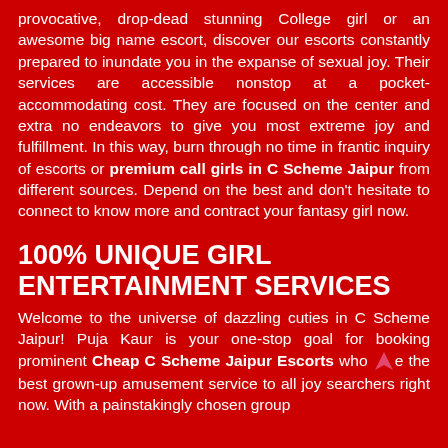provocative, drop-dead stunning College girl or an awesome big name escort, discover our escorts constantly prepared to inundate you in the expanse of sexual joy. Their services are accessible nonstop at a pocket-accommodating cost. They are focused on the center and extra no endeavors to give you most extreme joy and fulfillment. In this way, burn through no time in frantic inquiry of escorts or premium call girls in C Scheme Jaipur from different sources. Depend on the best and don't hesitate to connect to know more and contract your fantasy girl now.
100% UNIQUE GIRL ENTERTAINMENT SERVICES
Welcome to the universe of dazzling cuties in C Scheme Jaipur! Puja Kaur is your one-stop goal for booking prominent Cheap C Scheme Jaipur Escorts who are the best grown-up amusement service to all joy searchers right now. With a painstakingly chosen group